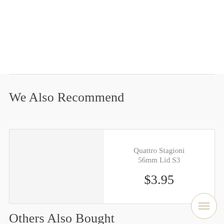We Also Recommend
| Quattro Stagioni 56mm Lid S3 | $3.95 |
Others Also Bought